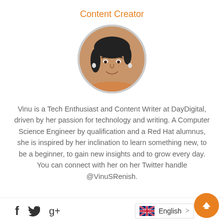Content Creator
[Figure (photo): Circular profile photo of a woman smiling, with dark hair]
Vinu is a Tech Enthusiast and Content Writer at DayDigital, driven by her passion for technology and writing. A Computer Science Engineer by qualification and a Red Hat alumnus, she is inspired by her inclination to learn something new, to be a beginner, to gain new insights and to grow every day. You can connect with her on her Twitter handle @VinuSRenish.
Social icons (Facebook, Twitter, Google+), English language selector, scroll-to-top button